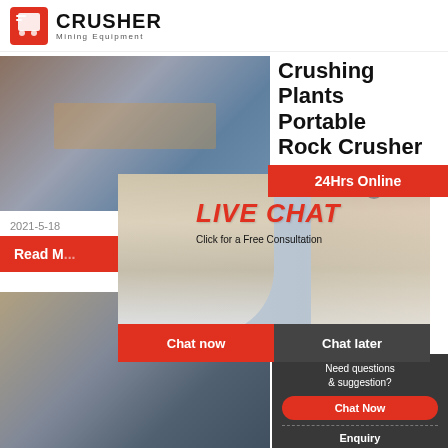CRUSHER Mining Equipment
[Figure (photo): Mining/industrial crushing plant facility with equipment and structures]
Crushing Plants Portable Rock Crusher
2021-5-18
Read M...
[Figure (photo): Live Chat popup overlay with workers in hard hats, Chat now and Chat later buttons]
[Figure (photo): Portable rock crusher machine on job site]
China 1L Series Portable Crusher
24Hrs Online
Need questions & suggestion? Chat Now
Enquiry
limingjlmofen@sina.com